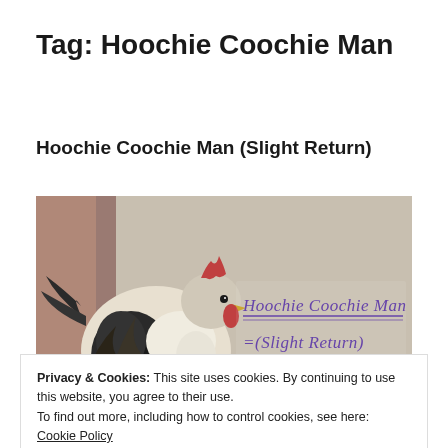Tag: Hoochie Coochie Man
Hoochie Coochie Man (Slight Return)
[Figure (photo): A rooster crowing with 'Hoochie Coochie Man (Slight Return)' text overlay in purple serif font]
Privacy & Cookies: This site uses cookies. By continuing to use this website, you agree to their use.
To find out more, including how to control cookies, see here:
Cookie Policy
Close and accept
This tune was written by the preeminent